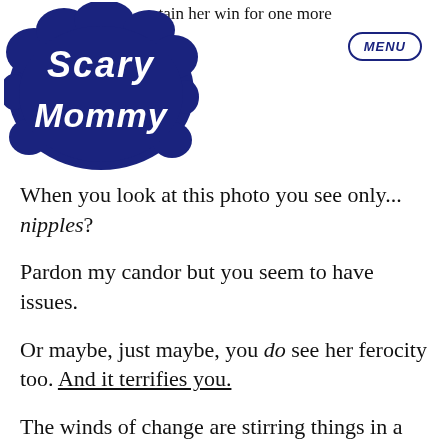dimi... ntain her win for one more
[Figure (logo): Scary Mommy logo in dark navy blue with cloud/bubble lettering style]
MENU
When you look at this photo you see only... nipples?
Pardon my candor but you seem to have issues.
Or maybe, just maybe, you do see her ferocity too. And it terrifies you.
The winds of change are stirring things in a counterclockwise direction. Undoing the damage done. Undoing the iniquity. Undoing the imbalance. Undoing the machismo, and the